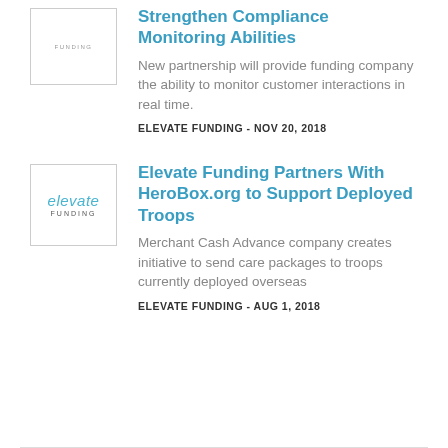[Figure (logo): Elevate Funding logo placeholder box with text FUNDING at top]
Strengthen Compliance Monitoring Abilities
New partnership will provide funding company the ability to monitor customer interactions in real time.
ELEVATE FUNDING - NOV 20, 2018
[Figure (logo): Elevate Funding logo with teal 'elevate' italic text and FUNDING in small caps]
Elevate Funding Partners With HeroBox.org to Support Deployed Troops
Merchant Cash Advance company creates initiative to send care packages to troops currently deployed overseas
ELEVATE FUNDING - AUG 1, 2018